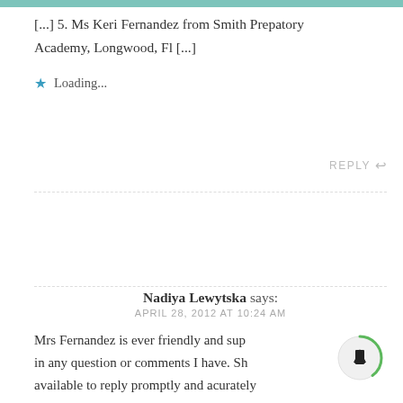[...] 5. Ms Keri Fernandez from Smith Prepatory Academy, Longwood, Fl [...]
Loading...
REPLY
Nadiya Lewytska says: APRIL 28, 2012 AT 10:24 AM
Mrs Fernandez is ever friendly and supportive in any question or comments I have. She is available to reply promptly and acurately regardless of weekends, or holidays. She is